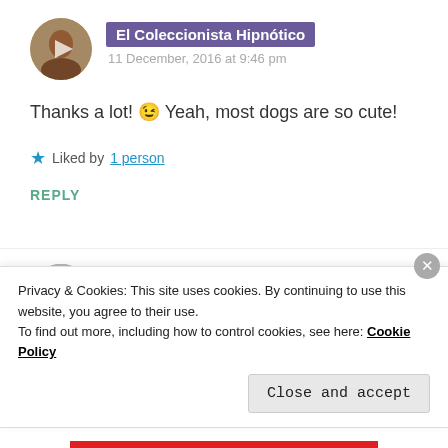[Figure (photo): Round avatar photo of El Coleccionista Hipnótico showing a person with a play button overlay]
El Coleccionista Hipnótico
11 December, 2016 at 9:46 pm
Thanks a lot! 😉 Yeah, most dogs are so cute!
★ Liked by 1 person
REPLY
[Figure (photo): Round grayscale avatar photo of Anna Cottage showing an older person]
Anna Cottage
Privacy & Cookies: This site uses cookies. By continuing to use this website, you agree to their use.
To find out more, including how to control cookies, see here: Cookie Policy
Close and accept